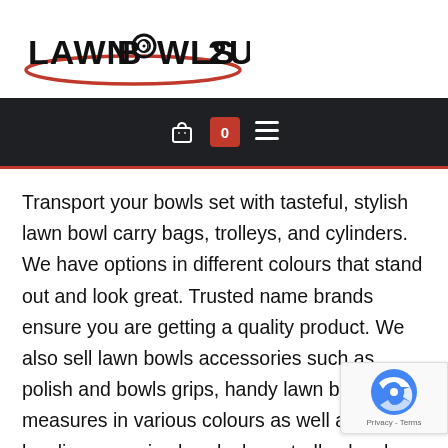[Figure (logo): Lawn Bowls 2U logo with bold text and red ellipse underline, stylized O in BOWLS]
[Figure (screenshot): Dark navigation bar with shopping bag icon, red badge showing 0, and hamburger menu icon]
Transport your bowls set with tasteful, stylish lawn bowl carry bags, trolleys, and cylinders. We have options in different colours that stand out and look great. Trusted name brands ensure you are getting a quality product. We also sell lawn bowls accessories such as polish and bowls grips, handy lawn bowls measures in various colours as well as bowling arms, ice hands, large trolley bowls bag covers and more. If that wasn't enough, also have porthole belts and plain belts for lawn bo in a variety of colours. We also have specials regularly if